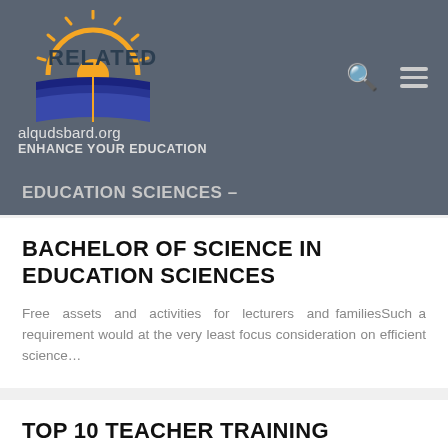[Figure (logo): alqudsbard.org logo with sun and book graphic in orange, blue, and dark colors]
alqudsbard.org
ENHANCE YOUR EDUCATION
EDUCATION SCIENCES –
BACHELOR OF SCIENCE IN EDUCATION SCIENCES
Free assets and activities for lecturers and familiesSuch a requirement would at the very least focus consideration on efficient science…
TOP 10 TEACHER TRAINING COURSES IN INDIA